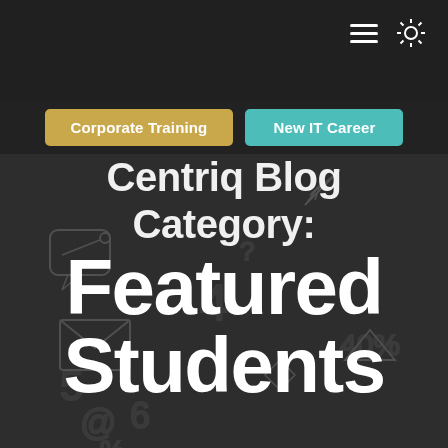Navigation bar with hamburger menu icon and sun/theme toggle icon
Corporate Training | New IT Career
Centriq Blog Category: Featured Students